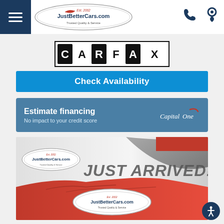[Figure (logo): JustBetterCars.com logo in oval shape with Est. 2002 and Trusted Quality & Service tagline]
[Figure (logo): CARFAX logo with individual letter boxes, black and white]
Check Availability
Estimate financing
No impact to your credit score
[Figure (illustration): Just Arrived banner image showing JustBetterCars.com logo overlaid on a car covered with red drape, with JUST ARRIVED! text]
[Figure (logo): JustBetterCars.com logo in oval - Est. 2002 Trusted Quality & Service]